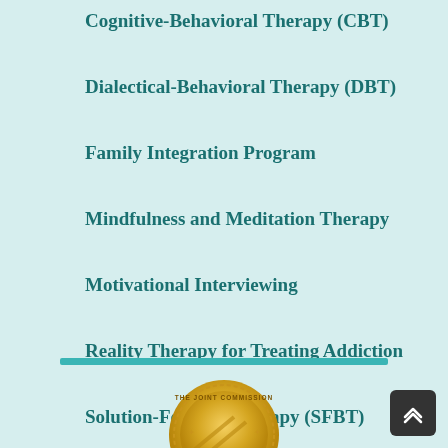Cognitive-Behavioral Therapy (CBT)
Dialectical-Behavioral Therapy (DBT)
Family Integration Program
Mindfulness and Meditation Therapy
Motivational Interviewing
Reality Therapy for Treating Addiction
Solution-Focused Therapy (SFBT)
[Figure (illustration): The Joint Commission gold seal of approval badge, partially visible at bottom of page]
[Figure (other): Dark gray back-to-top button with upward chevron arrow, bottom right corner]